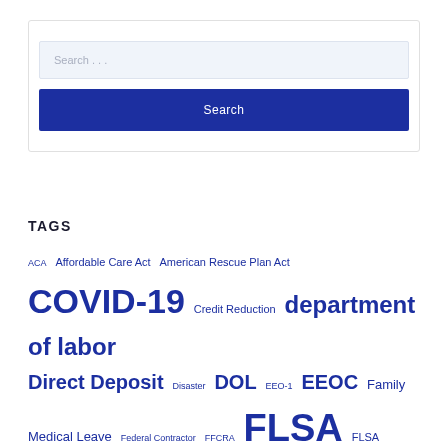[Figure (other): Search box with text input field showing placeholder 'Search …' and a dark blue Search button below it]
TAGS
ACA Affordable Care Act American Rescue Plan Act COVID-19 Credit Reduction department of labor Direct Deposit Disaster DOL EEO-1 EEOC Family Medical Leave Federal Contractor FFCRA FLSA FLSA